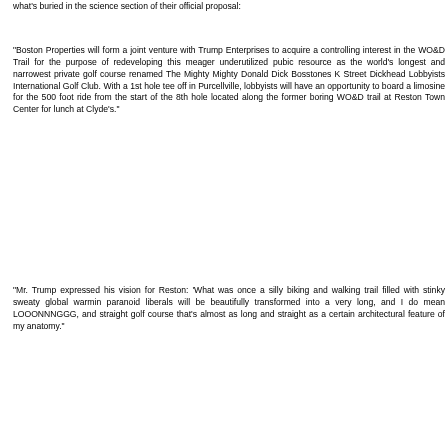what's buried in the science section of their official proposal:
"Boston Properties will form a joint venture with Trump Enterprises to acquire a controlling interest in the WO&D Trail for the purpose of redeveloping this meager underutilized pubic resource as the world's longest and narrowest private golf course renamed The Mighty Mighty Donald Dick Bosstones K Street Dickhead Lobbyists International Golf Club. With a 1st hole tee off in Purcellville, lobbyists will have an opportunity to board a limosine for the 500 foot ride from the start of the 8th hole located along the former boring WO&D trail at Reston Town Center for lunch at Clyde's."
"Mr. Trump expressed his vision for Reston: 'What was once a silly biking and walking trail filled with stinky sweaty global warmin paranoid liberals will be beautifully transformed into a very long, and I do mean LOOONNNGGG, and straight golf course that's almost as long and straight as a certain architectural feature of my anatomy."